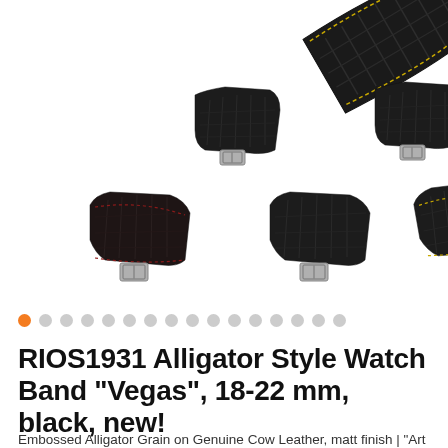[Figure (photo): Product photo showing multiple RIOS1931 Alligator Style Watch Bands in black color, displayed from different angles. One large close-up in the top right corner, two small bands in the middle row, and three bands in the bottom row. All bands are dark/black with silver buckles.]
RIOS1931 Alligator Style Watch Band "Vegas", 18-22 mm, black, new!
Embossed Alligator Grain on Genuine Cow Leather, matt finish | "Art Manuel" | Cross Section "round" | Seam "coloured" |